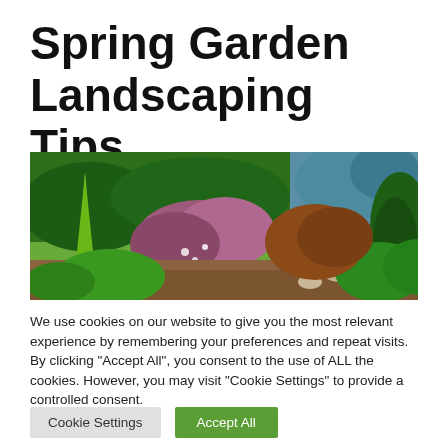Spring Garden Landscaping Tips
[Figure (photo): A colorful spring garden with various shrubs and plants including green conifers, pink/purple flowering shrubs, blue spruce, and lush green hedges.]
We use cookies on our website to give you the most relevant experience by remembering your preferences and repeat visits. By clicking “Accept All”, you consent to the use of ALL the cookies. However, you may visit "Cookie Settings" to provide a controlled consent.
Cookie Settings   Accept All